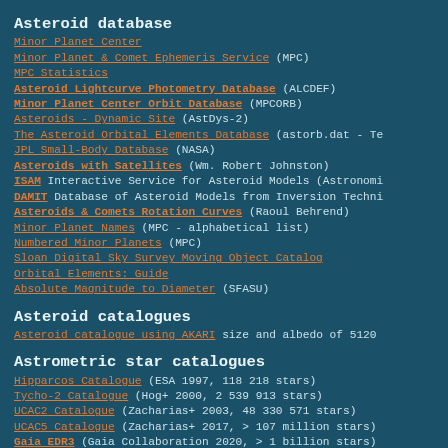Asteroid database
Minor Planet Center
Minor Planet & Comet Ephemeris Service (MPC)
MPC Statistics
Asteroid Lightcurve Photometry Database (ALCDEF)
Minor Planet Center Orbit Database (MPCORB)
Asteroids - Dynamic Site (AstDys-2)
The Asteroid Orbital Elements Database (astorb.dat - Te
JPL Small-Body Database (NASA)
Asteroids with Satellites (Wm. Robert Johnston)
ISAM Interactive Service for Asteroid Models (Astronomi
DAMIT Database of Asteroid Models from Inversion Techni
Asteroids & Comets Rotation Curves (Raoul Behrend)
Minor Planet Names (MPC - alphabetical list)
Numbered Minor Planets (MPC)
Sloan Digital Sky Survey Moving Object Catalog
Orbital Elements: Guide
Absolute Magnitude to Diameter (SFASU)
Asteroid catalogues
Asteroid catalogue using AKARI size and albedo of 5120
Astrometric star catalogues
Hipparcos Catalogue (ESA 1997, 118 218 stars)
Tycho-2 Catalogue (Hog+ 2000, 2 539 913 stars)
UCAC2 Catalogue (Zacharias+ 2003, 48 330 571 stars)
UCAC5 Catalogue (Zacharias+ 2017, > 107 million stars)
Gaia EDR3 (Gaia Collaboration 2020, > 1 billion stars)